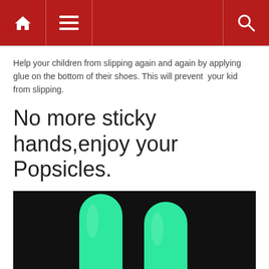Navigation bar with home, menu, and search icons
Help your children from slipping again and again by applying glue on the bottom of their shoes. This will prevent  your kid from slipping.
No more sticky hands,enjoy your Popsicles.
[Figure (photo): Two green popsicles standing upright against a dark black background]